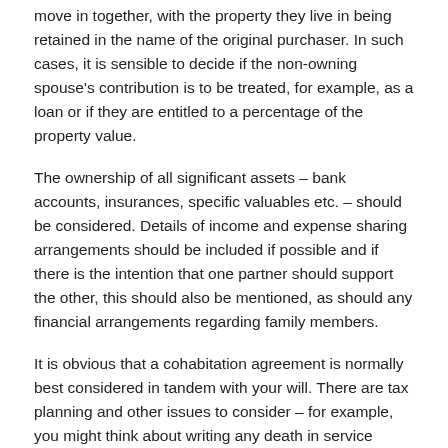move in together, with the property they live in being retained in the name of the original purchaser. In such cases, it is sensible to decide if the non-owning spouse's contribution is to be treated, for example, as a loan or if they are entitled to a percentage of the property value.
The ownership of all significant assets – bank accounts, insurances, specific valuables etc. – should be considered. Details of income and expense sharing arrangements should be included if possible and if there is the intention that one partner should support the other, this should also be mentioned, as should any financial arrangements regarding family members.
It is obvious that a cohabitation agreement is normally best considered in tandem with your will. There are tax planning and other issues to consider – for example, you might think about writing any death in service benefits or insurances in trust for your partner.